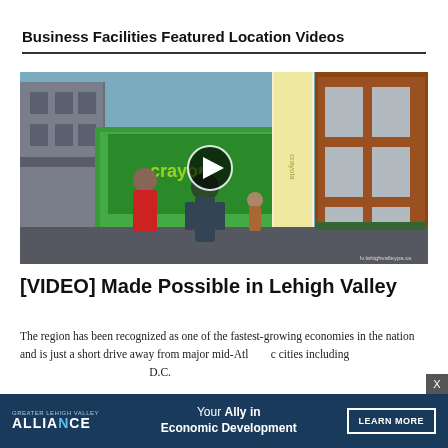Business Facilities Featured Location Videos
[Figure (screenshot): Video thumbnail showing people walking on an urban street with colorful storefronts including what appears to be a Crayola-themed building, with a play button overlay in the center]
[VIDEO] Made Possible in Lehigh Valley
The region has been recognized as one of the fastest-growing economies in the nation and is just a short drive away from major mid-Atlantic cities including D.C.
[Figure (infographic): Advertisement banner for Alliance with text 'Your Ally in Economic Development' and a LEARN MORE button, with an X close button]